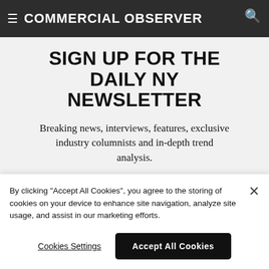Commercial Observer
SIGN UP FOR THE DAILY NY NEWSLETTER
Breaking news, interviews, features, exclusive industry columnists and in-depth trend analysis.
Your email address
SIGN UP
By clicking "Accept All Cookies", you agree to the storing of cookies on your device to enhance site navigation, analyze site usage, and assist in our marketing efforts.
Cookies Settings
Accept All Cookies